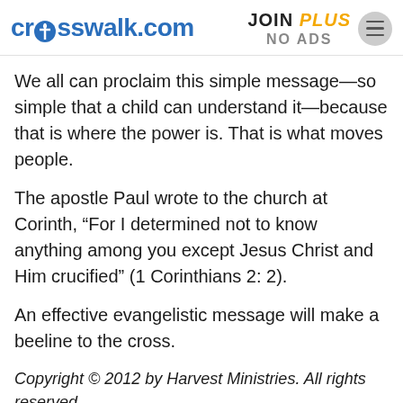crosswalk.com  JOIN PLUS NO ADS
We all can proclaim this simple message—so simple that a child can understand it—because that is where the power is. That is what moves people.
The apostle Paul wrote to the church at Corinth, “For I determined not to know anything among you except Jesus Christ and Him crucified” (1 Corinthians 2: 2).
An effective evangelistic message will make a beeline to the cross.
Copyright © 2012 by Harvest Ministries. All rights reserved.
Unless otherwise indicated, Scripture taken from the New King James Version. Copyright © 1982 by Thomas Nelson, Inc. Used by permission. All rights